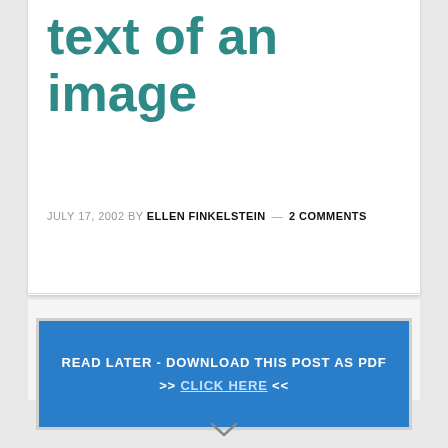text of an image
JULY 17, 2002 BY ELLEN FINKELSTEIN — 2 COMMENTS
READ LATER - DOWNLOAD THIS POST AS PDF >> CLICK HERE <<